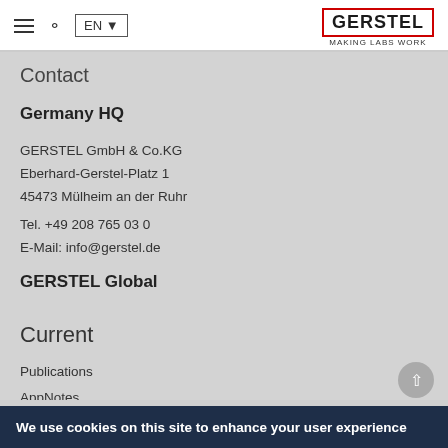EN | GERSTEL MAKING LABS WORK
Contact
Germany HQ
GERSTEL GmbH & Co.KG
Eberhard-Gerstel-Platz 1
45473 Mülheim an der Ruhr
Tel. +49 208 765 03 0
E-Mail: info@gerstel.de
GERSTEL Global
Current
Publications
AppNotes
We use cookies on this site to enhance your user experience